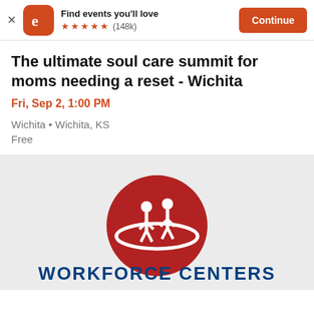[Figure (screenshot): Eventbrite app banner with logo, 'Find events you'll love', five orange stars, (148k) reviews, and an orange Continue button]
The ultimate soul care summit for moms needing a reset - Wichita
Fri, Sep 2, 1:00 PM
Wichita • Wichita, KS
Free
[Figure (logo): Workforce Centers logo: red circle with white human figures, text WORKFORCE CENTERS in navy blue below]